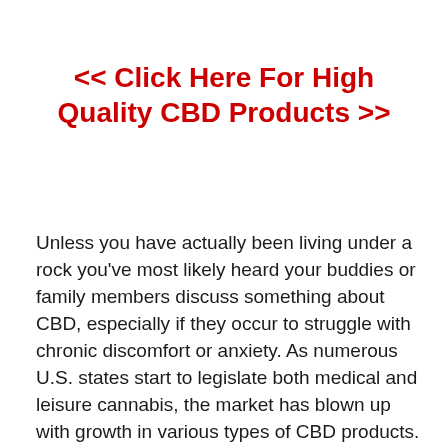<< Click Here For High Quality CBD Products >>
Unless you have actually been living under a rock you’ve most likely heard your buddies or family members discuss something about CBD, especially if they occur to struggle with chronic discomfort or anxiety. As numerous U.S. states start to legislate both medical and leisure cannabis, the market has blown up with growth in various types of CBD products. Despite this growth and the